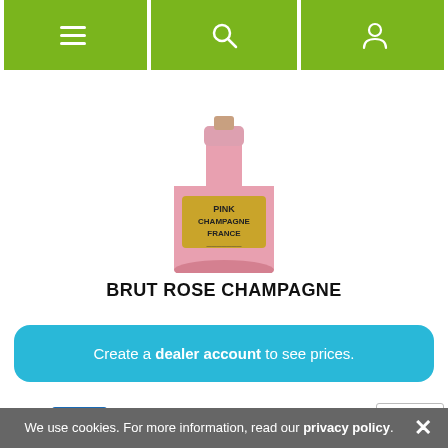[Figure (screenshot): Mobile website navigation bar with hamburger menu, search icon, and user/account icon on green background]
[Figure (photo): Pink champagne bottle with gold label reading PINK CHAMPAGNE FRANCE]
BRUT ROSE CHAMPAGNE
Create a dealer account to see prices.
New
[Figure (photo): Champagne bottle neck with cork and wire cage, bottle partially visible at bottom]
We use cookies. For more information, read our privacy policy.